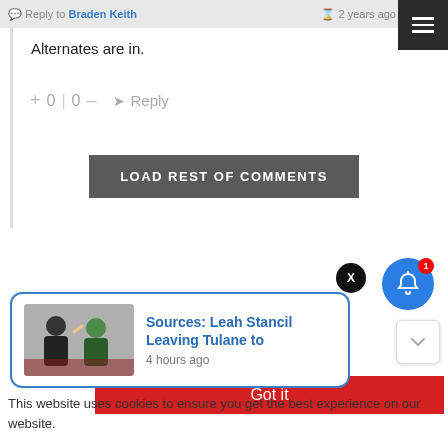Reply to Braden Keith · 2 years ago
Alternates are in.
+ 0 | 0 — Reply
LOAD REST OF COMMENTS
[Figure (screenshot): Blue notification bell icon with red badge showing '1']
[Figure (screenshot): Black circle X close button]
[Figure (infographic): Notification card with image thumbnail and headline: Sources: Leah Stancil Leaving Tulane to, 4 hours ago]
Got it
This website uses cookies to ensure you get the best experience on our website.